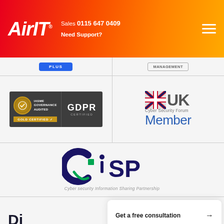Air IT | Sales 0115 647 0409 | Need Support?
[Figure (logo): IASME Gold Certified and GDPR Certified badge]
[Figure (logo): UK Cyber Security Forum Member logo]
[Figure (logo): CiSP - Cyber Security Information Sharing Partnership logo]
Get a free consultation →
Di